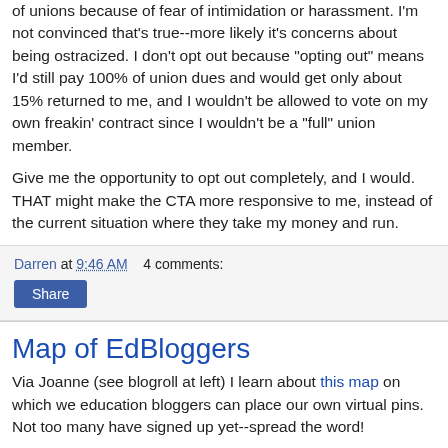of unions because of fear of intimidation or harassment. I'm not convinced that's true--more likely it's concerns about being ostracized. I don't opt out because "opting out" means I'd still pay 100% of union dues and would get only about 15% returned to me, and I wouldn't be allowed to vote on my own freakin' contract since I wouldn't be a "full" union member.
Give me the opportunity to opt out completely, and I would. THAT might make the CTA more responsive to me, instead of the current situation where they take my money and run.
Darren at 9:46 AM    4 comments:
Share
Map of EdBloggers
Via Joanne (see blogroll at left) I learn about this map on which we education bloggers can place our own virtual pins. Not too many have signed up yet--spread the word!